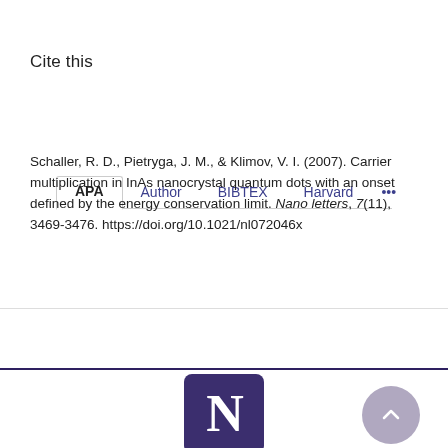Cite this
APA | Author | BIBTEX | Harvard | ...
Schaller, R. D., Pietryga, J. M., & Klimov, V. I. (2007). Carrier multiplication in InAs nanocrystal quantum dots with an onset defined by the energy conservation limit. Nano letters, 7(11), 3469-3476. https://doi.org/10.1021/nl072046x
[Figure (logo): Northwestern University purple N logo on dark purple square background]
[Figure (other): Scroll-to-top circular button with upward chevron arrow]